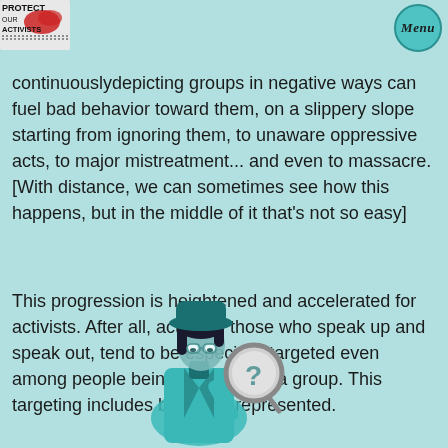PROTECT OUR ACTIVISTS | MENU
continuously depicting groups in negative ways can fuel bad behavior toward them, on a slippery slope starting from ignoring them, to unaware oppressive acts, to major mistreatment... and even to massacre. [With distance, we can sometimes see how this happens, but in the middle of it that's not so easy]
This progression is heightened and accelerated for activists. After all, activists, those who speak up and speak out, tend to be especially targeted even among people being attacked as a group. This targeting includes being misrepresented.
[Figure (illustration): Illustrated character in a teal detective outfit holding a magnifying glass with a question mark on it, looking downward with a thoughtful expression.]